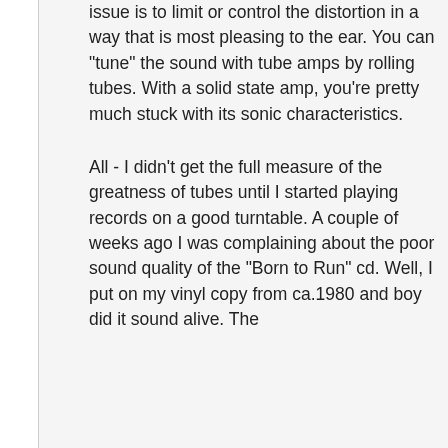issue is to limit or control the distortion in a way that is most pleasing to the ear. You can "tune" the sound with tube amps by rolling tubes. With a solid state amp, you're pretty much stuck with its sonic characteristics.
All - I didn't get the full measure of the greatness of tubes until I started playing records on a good turntable. A couple of weeks ago I was complaining about the poor sound quality of the "Born to Run" cd. Well, I put on my vinyl copy from ca.1980 and boy did it sound alive. The